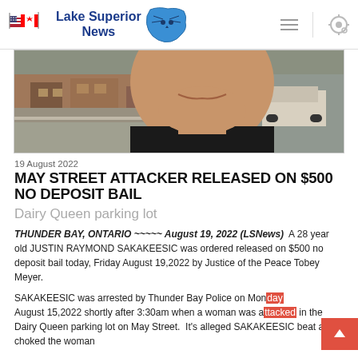Lake Superior News
[Figure (photo): Close-up photo of a person wearing a black shirt, with a street/parking lot scene visible in the background]
19 August 2022
MAY STREET ATTACKER RELEASED ON $500 NO DEPOSIT BAIL
Dairy Queen parking lot
THUNDER BAY, ONTARIO ~~~~~ August 19, 2022 (LSNews) A 28 year old JUSTIN RAYMOND SAKAKEESIC was ordered released on $500 no deposit bail today, Friday August 19,2022 by Justice of the Peace Tobey Meyer.
SAKAKEESIC was arrested by Thunder Bay Police on Monday August 15,2022 shortly after 3:30am when a woman was attacked in the Dairy Queen parking lot on May Street. It's alleged SAKAKEESIC beat and choked the woman